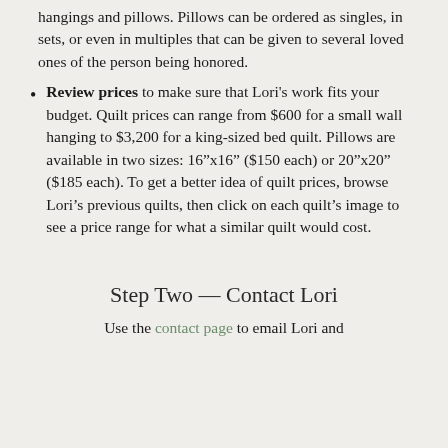hangings and pillows. Pillows can be ordered as singles, in sets, or even in multiples that can be given to several loved ones of the person being honored.
Review prices to make sure that Lori's work fits your budget. Quilt prices can range from $600 for a small wall hanging to $3,200 for a king-sized bed quilt. Pillows are available in two sizes: 16"x16" ($150 each) or 20"x20" ($185 each). To get a better idea of quilt prices, browse Lori's previous quilts, then click on each quilt's image to see a price range for what a similar quilt would cost.
Step Two — Contact Lori
Use the contact page to email Lori and